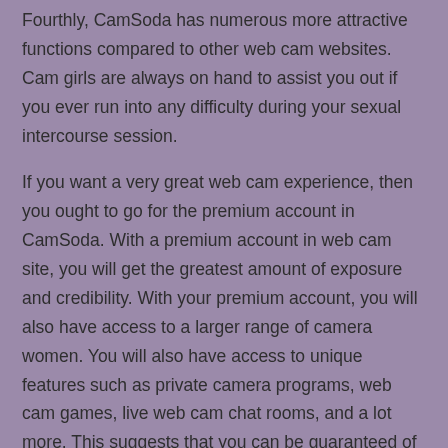Fourthly, CamSoda has numerous more attractive functions compared to other web cam websites. Cam girls are always on hand to assist you out if you ever run into any difficulty during your sexual intercourse session.
If you want a very great web cam experience, then you ought to go for the premium account in CamSoda. With a premium account in web cam site, you will get the greatest amount of exposure and credibility. With your premium account, you will also have access to a larger range of camera women. You will also have access to unique features such as private camera programs, web cam games, live web cam chat rooms, and a lot more. This suggests that you can be guaranteed of a quality experience every single time you go on a webcam program from camsoda. Ruby_rosee Camsoda
These are simply some of the advantages that you stand to get from using camera websites such as camsoda. However, if you